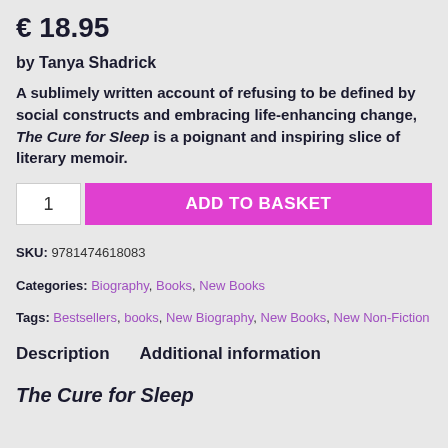€ 18.95
by Tanya Shadrick
A sublimely written account of refusing to be defined by social constructs and embracing life-enhancing change, The Cure for Sleep is a poignant and inspiring slice of literary memoir.
1  ADD TO BASKET
SKU: 9781474618083
Categories: Biography, Books, New Books
Tags: Bestsellers, books, New Biography, New Books, New Non-Fiction
Description   Additional information
The Cure for Sleep